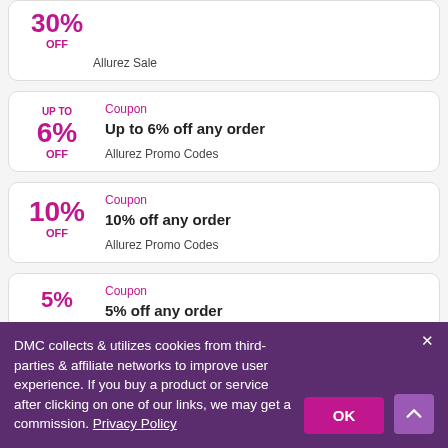30% OFF — Allurez Sale (partial, top of page)
Coupon — UP TO 6% OFF — Up to 6% off any order — Allurez Promo Codes
Coupon — 10% OFF — 10% off any order — Allurez Promo Codes
Coupon — 5% OFF — 5% off any order (partial)
DMC collects & utilizes cookies from third-parties & affiliate networks to improve user experience. If you buy a product or service after clicking on one of our links, we may get a commission. Privacy Policy